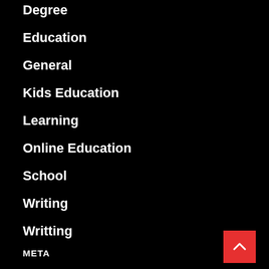Degree
Education
General
Kids Education
Learning
Online Education
School
Writing
Writting
META